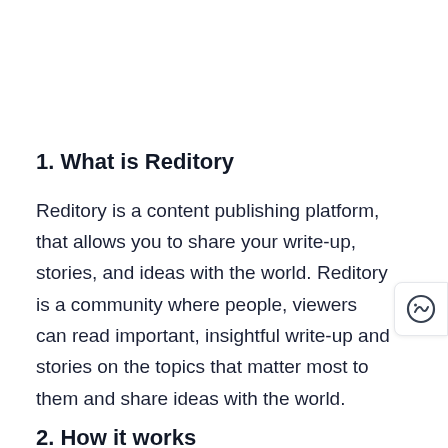1. What is Reditory
Reditory is a content publishing platform, that allows you to share your write-up, stories, and ideas with the world. Reditory is a community where people, viewers can read important, insightful write-up and stories on the topics that matter most to them and share ideas with the world.
2. How it works
As a writer on Reditory, you can share your stories